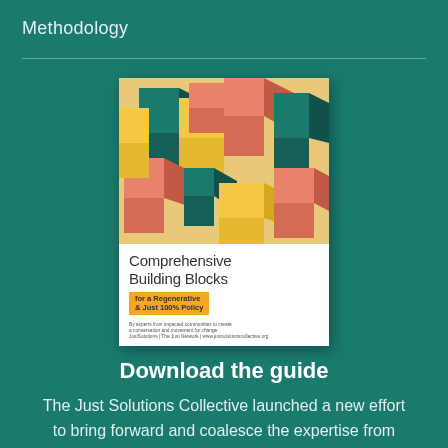Methodology
[Figure (illustration): Book cover of 'Comprehensive Building Blocks for a Regenerative & Just 100% Policy' with isometric colorful 3D block shapes in yellow, teal, salmon/pink colors on the cover]
Download the guide
The Just Solutions Collective launched a new effort to bring forward and coalesce the expertise from